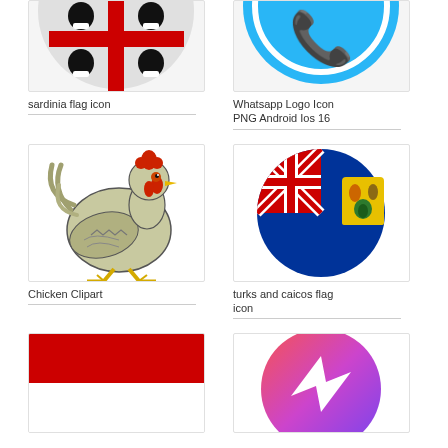[Figure (illustration): Sardinia flag icon - circular icon with moors head on red cross on grey/white background, partially cropped at top]
sardinia flag icon
[Figure (logo): WhatsApp Logo Icon PNG Android Ios 16 - circular cyan/teal icon with white phone handset, partially cropped at top]
Whatsapp Logo Icon PNG Android Ios 16
[Figure (illustration): Chicken Clipart - illustrated chicken/hen standing, light green-grey feathers, red comb, yellow legs]
Chicken Clipart
[Figure (illustration): turks and caicos flag icon - circular icon showing Turks and Caicos Islands flag with Union Jack corner and yellow shield on blue background]
turks and caicos flag icon
[Figure (illustration): Red and white flag - rectangular flag with red top half and white bottom, partially cropped]
[Figure (logo): Facebook Messenger logo - circular gradient pink-to-purple icon with white lightning bolt chat symbol, partially cropped]